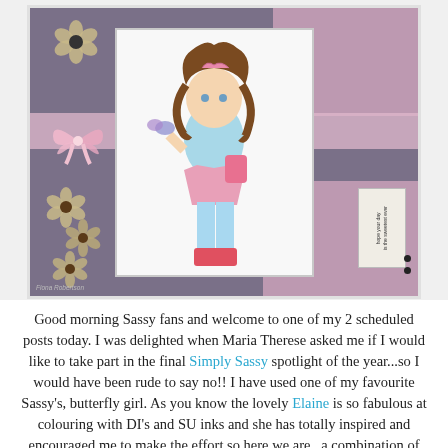[Figure (photo): A handmade greeting card featuring a cartoon girl with brown hair holding a butterfly, decorated with paper flowers, a pink ribbon bow, pink patterned paper on dark gray background, and a small sentiment tag reading 'hope your day is the sweetest ever'. Watermark reads 'Fiona Robertson'.]
Good morning Sassy fans and welcome to one of my 2 scheduled posts today. I was delighted when Maria Therese asked me if I would like to take part in the final Simply Sassy spotlight of the year...so I would have been rude to say no!! I have used one of my favourite Sassy's, butterfly girl. As you know the lovely Elaine is so fabulous at colouring with DI's and SU inks and she has totally inspired and encouraged me to make the effort so here we are...a combination of SU inks and DI's...